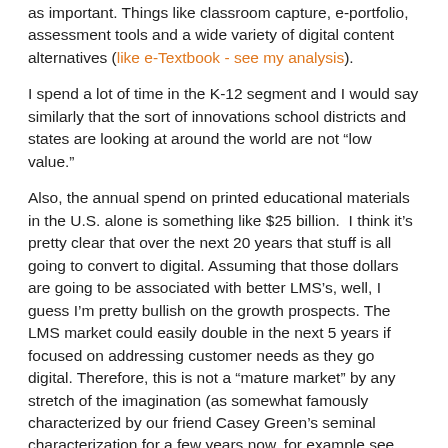as important. Things like classroom capture, e-portfolio, assessment tools and a wide variety of digital content alternatives (like e-Textbook - see my analysis).
I spend a lot of time in the K-12 segment and I would say similarly that the sort of innovations school districts and states are looking at around the world are not "low value."
Also, the annual spend on printed educational materials in the U.S. alone is something like $25 billion. I think it's pretty clear that over the next 20 years that stuff is all going to convert to digital. Assuming that those dollars are going to be associated with better LMS's, well, I guess I'm pretty bullish on the growth prospects. The LMS market could easily double in the next 5 years if focused on addressing customer needs as they go digital. Therefore, this is not a "mature market" by any stretch of the imagination (as somewhat famously characterized by our friend Casey Green's seminal characterization for a few years now, for example see http://www.campuscomputing.net/new.html ).
But, a key strategy question for all the LMS providers, as well